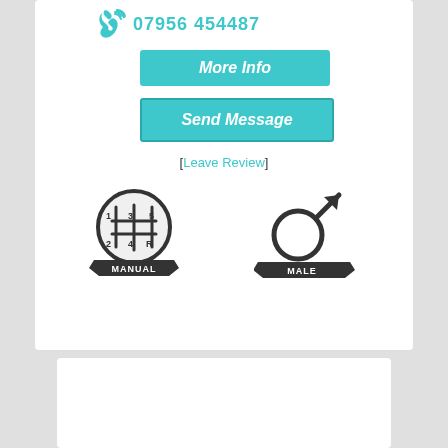07956 454487
More Info
Send Message
[Leave Review]
[Figure (illustration): Manual gear shift icon in a circle with label MANUAL]
[Figure (illustration): Male gender symbol icon with label MALE]